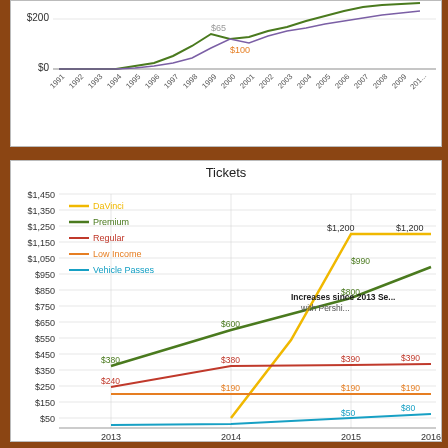[Figure (line-chart): Top chart (partial, cropped)]
Tickets
[Figure (line-chart): Tickets]